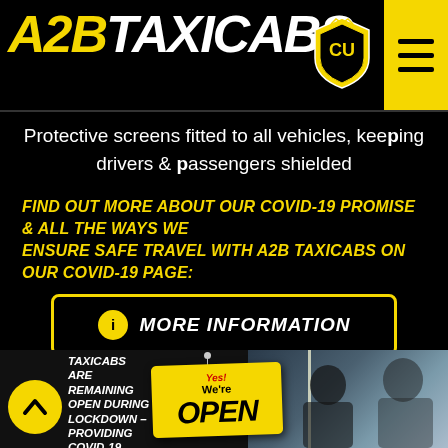A2B TAXICABS
Protective screens fitted to all vehicles, keeping drivers & passengers shielded
FIND OUT MORE ABOUT OUR COVID-19 PROMISE & ALL THE WAYS WE ENSURE SAFE TRAVEL WITH A2B TAXICABS ON OUR COVID-19 PAGE:
MORE INFORMATION
[Figure (photo): Bottom section showing a 'We're Open' sign and a car interior photo with a protective screen, plus text 'TAXICABS ARE REMAINING OPEN DURING LOCKDOWN - PROVIDING COVID-19 SAFE TRAVEL']